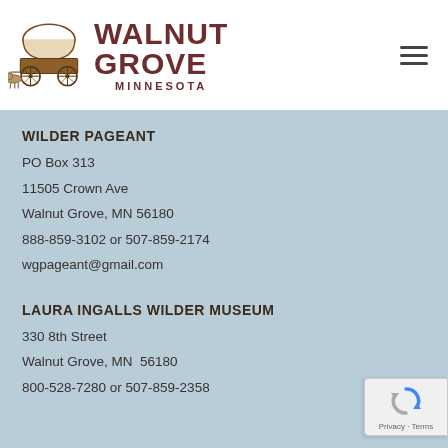[Figure (logo): Walnut Grove Minnesota logo with covered wagon illustration and text]
WILDER PAGEANT
PO Box 313
11505 Crown Ave
Walnut Grove, MN 56180
888-859-3102 or 507-859-2174
wgpageant@gmail.com
LAURA INGALLS WILDER MUSEUM
330 8th Street
Walnut Grove, MN  56180
800-528-7280 or 507-859-2358